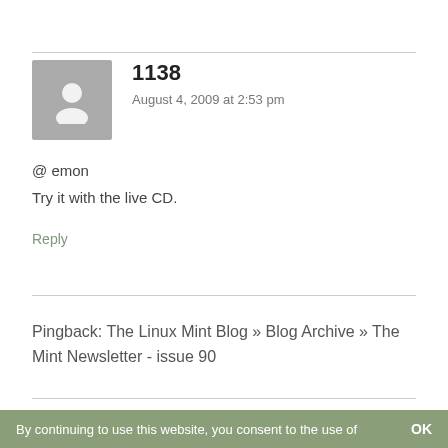[Figure (illustration): Generic user avatar icon — grey square with white silhouette of a person]
1138
August 4, 2009 at 2:53 pm
@ emon
Try it with the live CD.
Reply
Pingback: The Linux Mint Blog » Blog Archive » The Mint Newsletter - issue 90
By continuing to use this website, you consent to the use of   OK